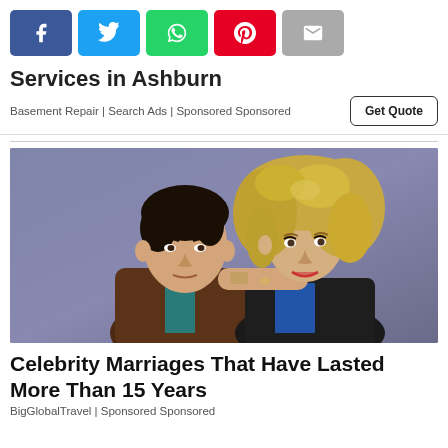[Figure (other): Social share buttons: Facebook (blue), Twitter (cyan), WhatsApp (green), Pinterest (red), Email (grey)]
Services in Ashburn
Basement Repair | Search Ads | Sponsored Sponsored
[Figure (photo): A young man with dark hair wearing a leather jacket and a young woman with curly blonde hair leaning on his shoulder, 1980s style promotional photo, purple-grey background]
Celebrity Marriages That Have Lasted More Than 15 Years
BigGlobalTravel | Sponsored Sponsored